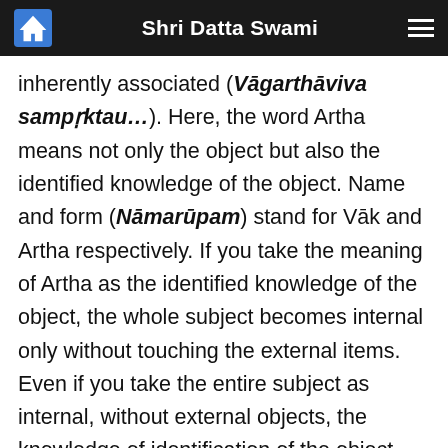Shri Datta Swami
inherently associated (Vāgarthāviva sampṛktau…). Here, the word Artha means not only the object but also the identified knowledge of the object. Name and form (Nāmarūpam) stand for Vāk and Artha respectively. If you take the meaning of Artha as the identified knowledge of the object, the whole subject becomes internal only without touching the external items. Even if you take the entire subject as internal, without external objects, the knowledge of identification of the object does not take place. If the object is absent, there is no identification of the object. However, if you are particular about the subject of internal items only, it is better to take the